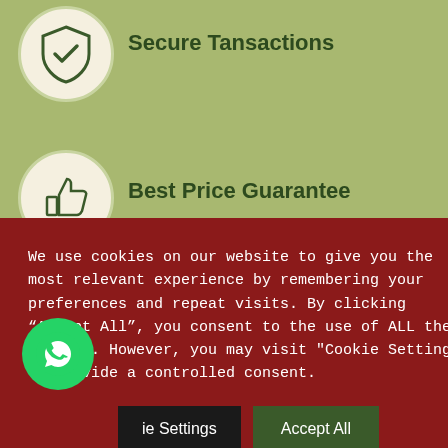[Figure (illustration): Shield with checkmark icon in a cream circle on green background]
Secure Tansactions
[Figure (illustration): Thumbs up icon in a cream circle on green background]
Best Price Guarantee
We use cookies on our website to give you the most relevant experience by remembering your preferences and repeat visits. By clicking “Accept All”, you consent to the use of ALL the cookies. However, you may visit "Cookie Settings" to provide a controlled consent.
[Figure (illustration): WhatsApp logo button (green circle)]
ie Settings
Accept All
Shop   My Account   Search